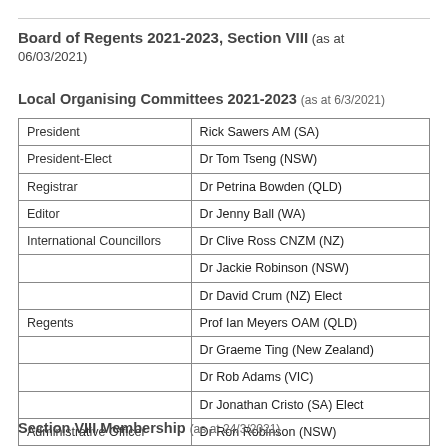Board of Regents 2021-2023, Section VIII (as at 06/03/2021)
Local Organising Committees 2021-2023 (as at 6/3/2021)
| Role | Name |
| --- | --- |
| President | Rick Sawers AM (SA) |
| President-Elect | Dr Tom Tseng (NSW) |
| Registrar | Dr Petrina Bowden (QLD) |
| Editor | Dr Jenny Ball (WA) |
| International Councillors | Dr Clive Ross CNZM (NZ) |
|  | Dr Jackie Robinson (NSW) |
|  | Dr David Crum (NZ) Elect |
| Regents | Prof Ian Meyers OAM (QLD) |
|  | Dr Graeme Ting (New Zealand) |
|  | Dr Rob Adams (VIC) |
|  | Dr Jonathan Cristo (SA) Elect |
| Administrative Officer | Dr Ron Robinson (NSW) |
Section VIII Membership (as at 24/3/2021)